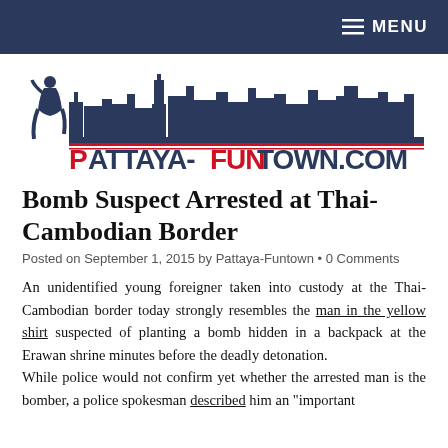MENU
[Figure (logo): Pattaya-Funtown.com logo with city skyline silhouette and female figure silhouette]
Bomb Suspect Arrested at Thai-Cambodian Border
Posted on September 1, 2015 by Pattaya-Funtown • 0 Comments
An unidentified young foreigner taken into custody at the Thai-Cambodian border today strongly resembles the man in the yellow shirt suspected of planting a bomb hidden in a backpack at the Erawan shrine minutes before the deadly detonation.
While police would not confirm yet whether the arrested man is the bomber, a police spokesman described him an "important